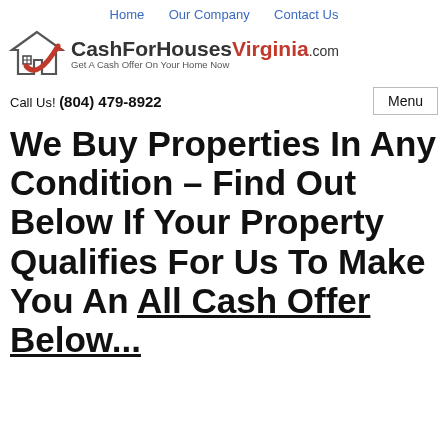Home   Our Company   Contact Us
[Figure (logo): CashForHousesVirginia.com logo with house icon and checkmark, tagline: Get A Cash Offer On Your Home Now]
Call Us! (804) 479-8922
We Buy Properties In Any Condition – Find Out Below If Your Property Qualifies For Us To Make You An All Cash Offer Below...